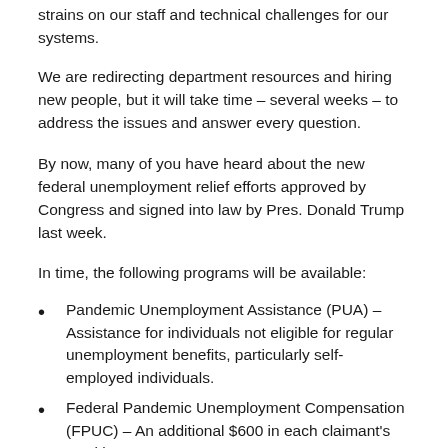strains on our staff and technical challenges for our systems.
We are redirecting department resources and hiring new people, but it will take time – several weeks – to address the issues and answer every question.
By now, many of you have heard about the new federal unemployment relief efforts approved by Congress and signed into law by Pres. Donald Trump last week.
In time, the following programs will be available:
Pandemic Unemployment Assistance (PUA) – Assistance for individuals not eligible for regular unemployment benefits, particularly self-employed individuals.
Federal Pandemic Unemployment Compensation (FPUC) – An additional $600 in each claimant's weekly payment.